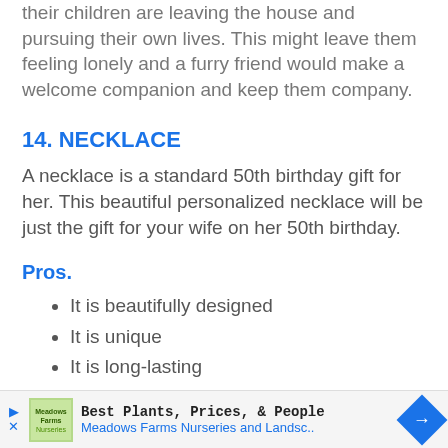their children are leaving the house and pursuing their own lives. This might leave them feeling lonely and a furry friend would make a welcome companion and keep them company.
14. NECKLACE
A necklace is a standard 50th birthday gift for her. This beautiful personalized necklace will be just the gift for your wife on her 50th birthday.
Pros.
It is beautifully designed
It is unique
It is long-lasting
It is lightweight, portable, and easy to
Best Plants, Prices, & People
Meadows Farms Nurseries and Landsc..